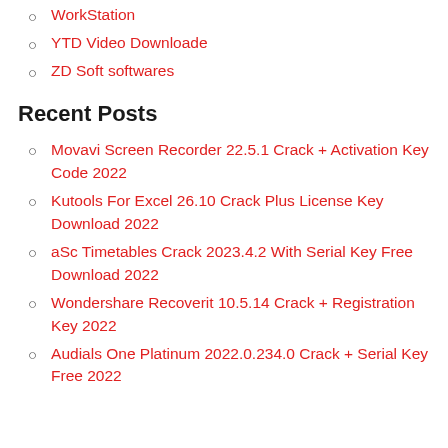WorkStation
YTD Video Downloade
ZD Soft softwares
Recent Posts
Movavi Screen Recorder 22.5.1 Crack + Activation Key Code 2022
Kutools For Excel 26.10 Crack Plus License Key Download 2022
aSc Timetables Crack 2023.4.2 With Serial Key Free Download 2022
Wondershare Recoverit 10.5.14 Crack + Registration Key 2022
Audials One Platinum 2022.0.234.0 Crack + Serial Key Free 2022